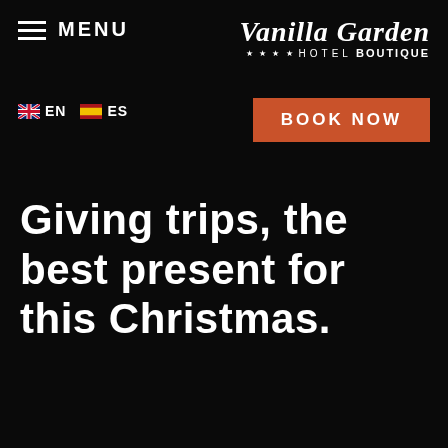MENU  Vanilla Garden Hotel Boutique
EN  ES
BOOK NOW
Giving trips, the best present for this Christmas.